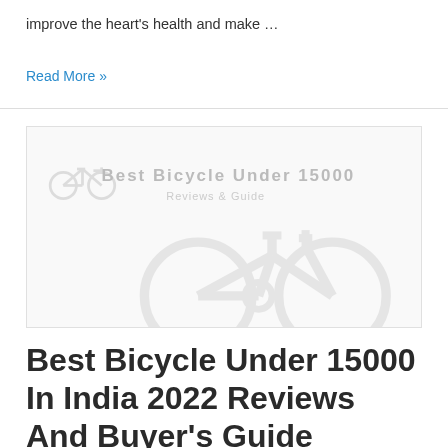improve the heart's health and make …
Read More »
[Figure (illustration): Placeholder image for 'Best Bicycle Under 15000 Reviews & Guide' showing a faint bicycle icon and text watermark on a light gray background]
Best Bicycle Under 15000 In India 2022 Reviews And Buyer's Guide